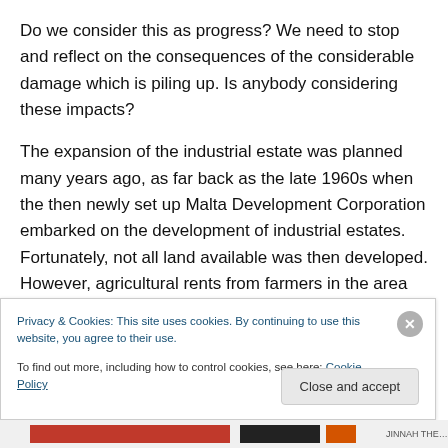Do we consider this as progress? We need to stop and reflect on the consequences of the considerable damage which is piling up. Is anybody considering these impacts?
The expansion of the industrial estate was planned many years ago, as far back as the late 1960s when the then newly set up Malta Development Corporation embarked on the development of industrial estates. Fortunately, not all land available was then developed. However, agricultural rents from farmers in the area have not been accepted since then. They have now received their
Privacy & Cookies: This site uses cookies. By continuing to use this website, you agree to their use.
To find out more, including how to control cookies, see here: Cookie Policy
Close and accept